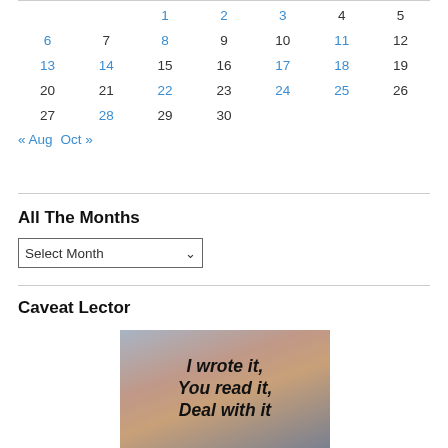| Sun | Mon | Tue | Wed | Thu | Fri | Sat |
| --- | --- | --- | --- | --- | --- | --- |
|  |  | 1 | 2 | 3 | 4 | 5 |
| 6 | 7 | 8 | 9 | 10 | 11 | 12 |
| 13 | 14 | 15 | 16 | 17 | 18 | 19 |
| 20 | 21 | 22 | 23 | 24 | 25 | 26 |
| 27 | 28 | 29 | 30 |  |  |  |
« Aug  Oct »
All The Months
Select Month
Caveat Lector
[Figure (photo): Image with bold italic text on a sunset/sky background reading: I wrote it, You read it, [partially visible third line]]